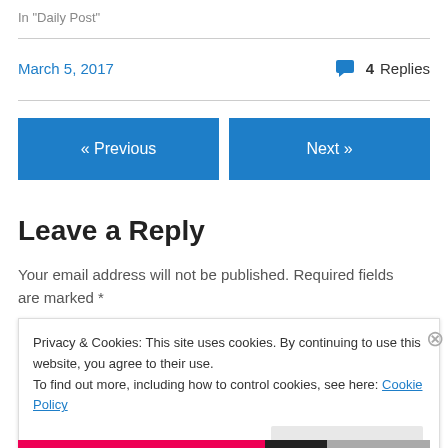In "Daily Post"
March 5, 2017
4 Replies
« Previous
Next »
Leave a Reply
Your email address will not be published. Required fields are marked *
Privacy & Cookies: This site uses cookies. By continuing to use this website, you agree to their use.
To find out more, including how to control cookies, see here: Cookie Policy
Close and accept